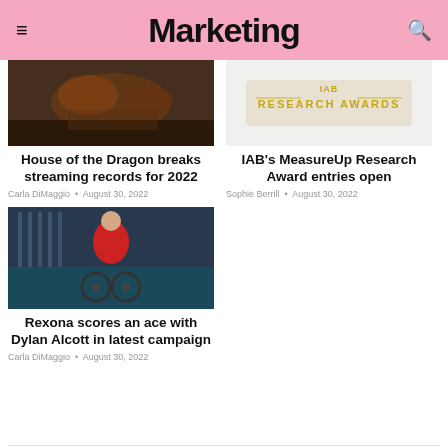Marketing
[Figure (photo): House of the Dragon show image - dark fantasy scene]
House of the Dragon breaks streaming records for 2022
Carla DiMaggio • August 30, 2022
[Figure (other): IAB Research Awards logo/banner in gold text]
IAB's MeasureUp Research Award entries open
Sophie Berrill • August 30, 2022
[Figure (photo): Man in wheelchair on tennis court wearing red jacket]
Rexona scores an ace with Dylan Alcott in latest campaign
Carla DiMaggio • August 30, 2022